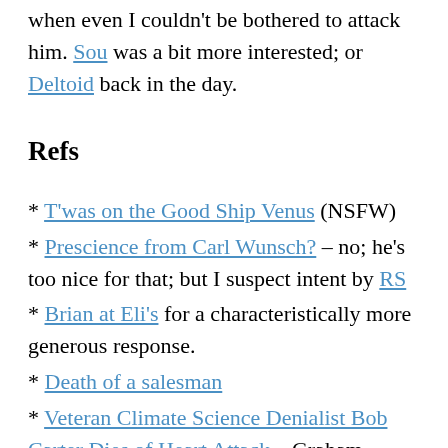when even I couldn't be bothered to attack him. Sou was a bit more interested; or Deltoid back in the day.
Refs
* T'was on the Good Ship Venus (NSFW)
* Prescience from Carl Wunsch? – no; he's too nice for that; but I suspect intent by RS
* Brian at Eli's for a characteristically more generous response.
* Death of a salesman
* Veteran Climate Science Denialist Bob Carter Dies of Heart Attack – Graham Readfearn at DeSmogBlog (h/t w)
* Me in the Graun 🙂